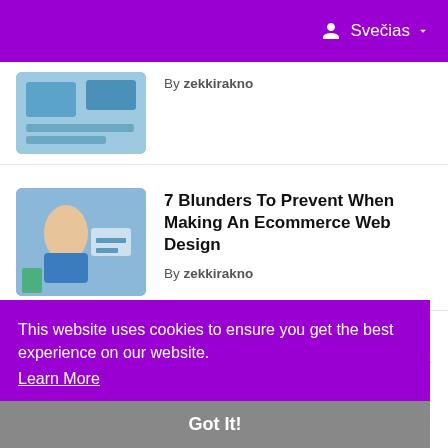Svečias
By zekkirakno
7 Blunders To Prevent When Making An Ecommerce Web Design
By zekkirakno
kategorijos
This website uses cookies to ensure you get the best experience on our website. Learn More
Got It!